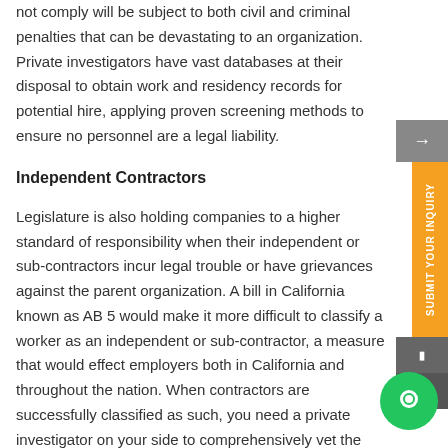not comply will be subject to both civil and criminal penalties that can be devastating to an organization. Private investigators have vast databases at their disposal to obtain work and residency records for potential hire, applying proven screening methods to ensure no personnel are a legal liability.
Independent Contractors
Legislature is also holding companies to a higher standard of responsibility when their independent or sub-contractors incur legal trouble or have grievances against the parent organization. A bill in California known as AB 5 would make it more difficult to classify a worker as an independent or sub-contractor, a measure that would effect employers both in California and throughout the nation. When contractors are successfully classified as such, you need a private investigator on your side to comprehensively vet the situation. With their full